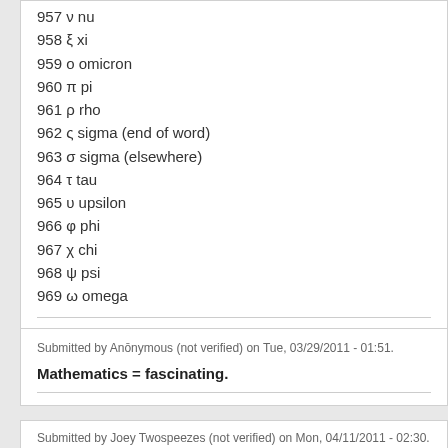957 ν nu
958 ξ xi
959 ο omicron
960 π pi
961 ρ rho
962 ς sigma (end of word)
963 σ sigma (elsewhere)
964 τ tau
965 υ upsilon
966 φ phi
967 χ chi
968 ψ psi
969 ω omega
Submitted by Anōnymous (not verified) on Tue, 03/29/2011 - 01:51.
Mathematics = fascinating.
Submitted by Joey Twospeezes (not verified) on Mon, 04/11/2011 - 02:30.